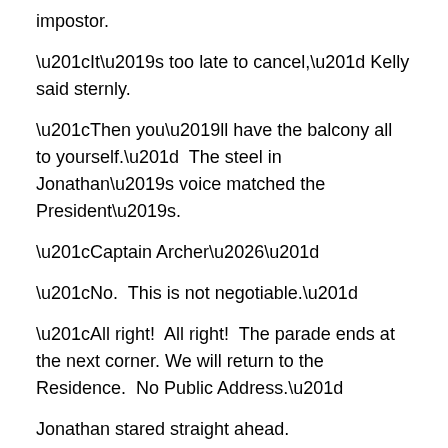impostor.
“It’s too late to cancel,” Kelly said sternly.
“Then you’ll have the balcony all to yourself.”  The steel in Jonathan’s voice matched the President’s.
“Captain Archer…”
“No.  This is not negotiable.”
“All right!  All right!  The parade ends at the next corner.  We will return to the Residence.  No Public Address.”
Jonathan stared straight ahead.
Mara leaned over the Captain to grasp Kelly’s hand.  She could barely see.  “Thank you, Kerner.”
“My pleasure, Majesty,” he growled.